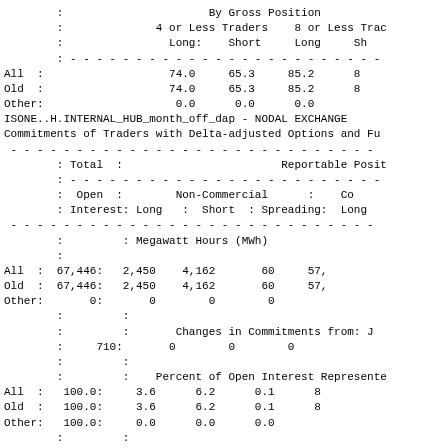|  | By Gross Position: 4 or Less Traders Long | 4 or Less Traders Short | 8 or Less Traders Long | 8 or Less Traders Short |
| --- | --- | --- | --- | --- |
| All | 74.0 | 65.3 | 85.2 | 8x |
| Old | 74.0 | 65.3 | 85.2 | 8x |
| Other | 0.0 | 0.0 | 0.0 |  |
ISONE..H.INTERNAL_HUB_month_off_dap - NODAL EXCHANGE
Commitments of Traders with Delta-adjusted Options and Fu
|  | Total: Open Interest | Non-Commercial Long | Non-Commercial Short | Non-Commercial Spreading | Commercial Long |
| --- | --- | --- | --- | --- | --- |
|  | Megawatt Hours (MWh) |  |  |  |  |
| All | 67,446 | 2,450 | 4,162 | 60 | 57, |
| Old | 67,446 | 2,450 | 4,162 | 60 | 57, |
| Other | 0 | 0 | 0 | 0 |  |
|  |  | Changes in Commitments from: J |  |  |  |
|  | 710 | 0 | 0 | 0 |  |
|  |  | Percent of Open Interest Represented |  |  |  |
| All | 100.0 | 3.6 | 6.2 | 0.1 | 8 |
| Old | 100.0 | 3.6 | 6.2 | 0.1 | 8 |
| Other | 100.0 | 0.0 | 0.0 | 0.0 |  |